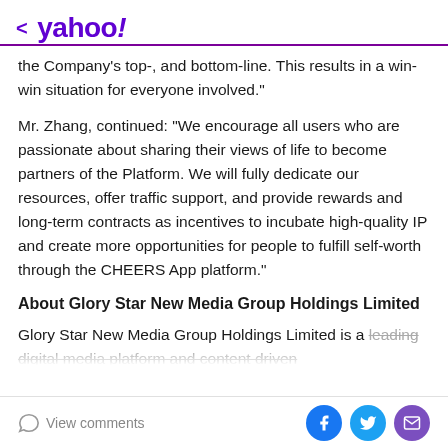< yahoo!
the Company's top-, and bottom-line. This results in a win-win situation for everyone involved."
Mr. Zhang, continued: "We encourage all users who are passionate about sharing their views of life to become partners of the Platform. We will fully dedicate our resources, offer traffic support, and provide rewards and long-term contracts as incentives to incubate high-quality IP and create more opportunities for people to fulfill self-worth through the CHEERS App platform."
About Glory Star New Media Group Holdings Limited
Glory Star New Media Group Holdings Limited is a leading digital media platform and content driven...
View comments